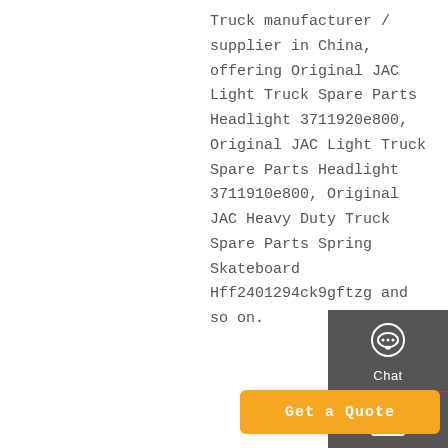Truck manufacturer / supplier in China, offering Original JAC Light Truck Spare Parts Headlight 3711920e800, Original JAC Light Truck Spare Parts Headlight 3711910e800, Original JAC Heavy Duty Truck Spare Parts Spring Skateboard Hff2401294ck9gftzg and so on.
[Figure (infographic): Dark grey sidebar with three icon buttons: Chat (headset icon), Email (envelope icon), Contact (speech bubble icon), and a Top (arrow up) button. Each section separated by a red horizontal line.]
Get a Quote